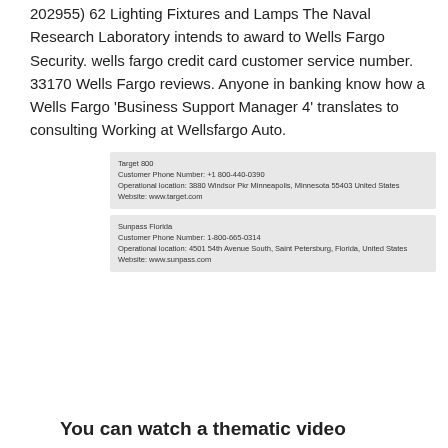202955) 62 Lighting Fixtures and Lamps The Naval Research Laboratory intends to award to Wells Fargo Security. wells fargo credit card customer service number. 33170 Wells Fargo reviews. Anyone in banking know how a Wells Fargo 'Business Support Manager 4' translates to consulting Working at Wellsfargo Auto.
[Figure (infographic): Two grey info cards. First card: Target 800, Customer Phone Number: +1 800-440-0390, Operational location: 3880 Windsor Pkr Minneapolis, Minnesota 55403 United States, Website: www.target.com. Second card: Sunpass Florida, Customer Phone Number: 1-800-665-0314, Operational location: 4501 54th Avenue South, Saint Petersburg, Florida, United States, Website: www.sunpass.com]
You can watch a thematic video